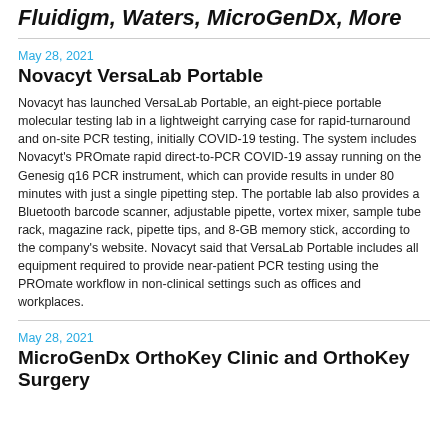Fluidigm, Waters, MicroGenDx, More
May 28, 2021
Novacyt VersaLab Portable
Novacyt has launched VersaLab Portable, an eight-piece portable molecular testing lab in a lightweight carrying case for rapid-turnaround and on-site PCR testing, initially COVID-19 testing. The system includes Novacyt's PROmate rapid direct-to-PCR COVID-19 assay running on the Genesig q16 PCR instrument, which can provide results in under 80 minutes with just a single pipetting step. The portable lab also provides a Bluetooth barcode scanner, adjustable pipette, vortex mixer, sample tube rack, magazine rack, pipette tips, and 8-GB memory stick, according to the company's website. Novacyt said that VersaLab Portable includes all equipment required to provide near-patient PCR testing using the PROmate workflow in non-clinical settings such as offices and workplaces.
May 28, 2021
MicroGenDx OrthoKey Clinic and OrthoKey Surgery